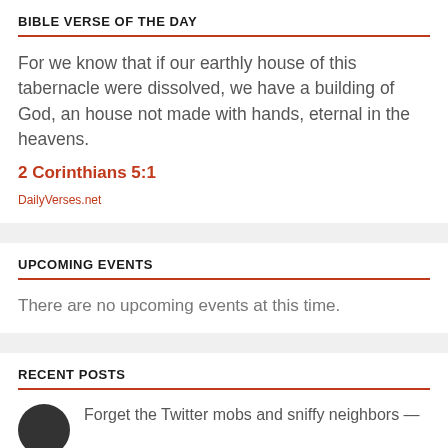BIBLE VERSE OF THE DAY
For we know that if our earthly house of this tabernacle were dissolved, we have a building of God, an house not made with hands, eternal in the heavens.
2 Corinthians 5:1
DailyVerses.net
UPCOMING EVENTS
There are no upcoming events at this time.
RECENT POSTS
Forget the Twitter mobs and sniffy neighbors —